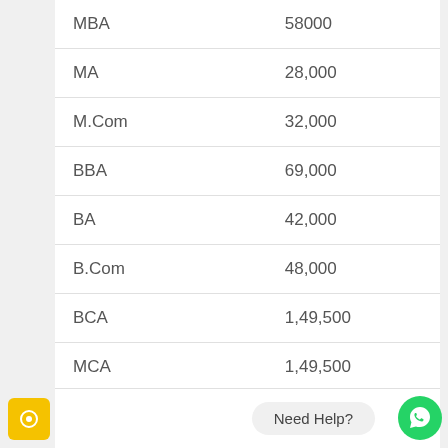| Program | Fees |
| --- | --- |
| MBA | 58000 |
| MA | 28,000 |
| M.Com | 32,000 |
| BBA | 69,000 |
| BA | 42,000 |
| B.Com | 48,000 |
| BCA | 1,49,500 |
| MCA | 1,49,500 |
Need Help?